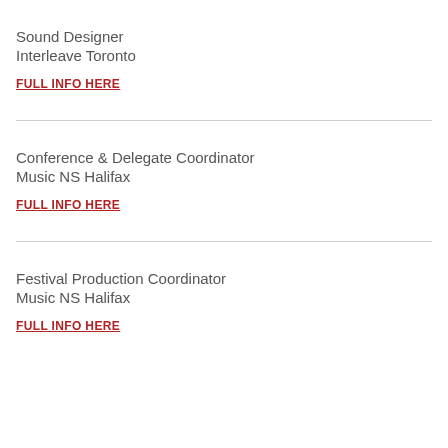Sound Designer
Interleave Toronto
FULL INFO HERE
Conference & Delegate Coordinator
Music NS Halifax
FULL INFO HERE
Festival Production Coordinator
Music NS Halifax
FULL INFO HERE